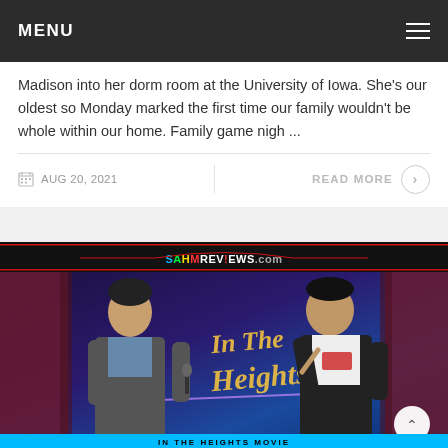MENU
Madison into her dorm room at the University of Iowa. She's our oldest so Monday marked the first time our family wouldn't be whole within our home. Family game nigh ...
AUG 20, 2021
READ MORE
[Figure (photo): Photo showing two men on a stage in front of an 'In The Heights' movie backdrop. The SAHMReviews.com logo appears at the top of the image.]